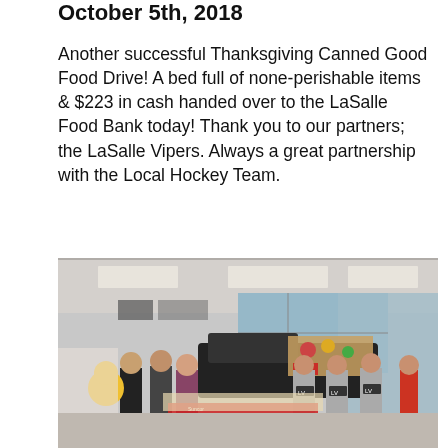October 5th, 2018
Another successful Thanksgiving Canned Good Food Drive! A bed full of none-perishable items & $223 in cash handed over to the LaSalle Food Bank today! Thank you to our partners; the LaSalle Vipers. Always a great partnership with the Local Hockey Team.
[Figure (photo): Group photo inside a car dealership showroom. Several people including hockey players wearing LV jerseys stand around a truck bed filled with donated canned goods and food items.]